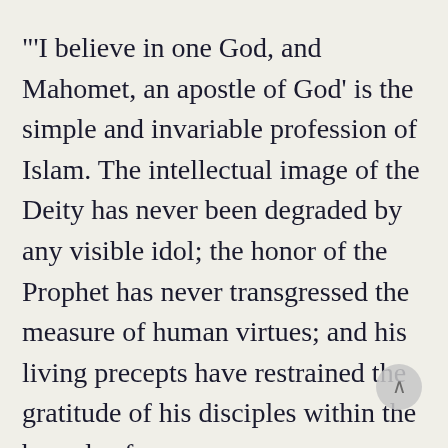"'I believe in one God, and Mahomet, an apostle of God' is the simple and invariable profession of Islam. The intellectual image of the Deity has never been degraded by any visible idol; the honor of the Prophet has never transgressed the measure of human virtues; and his living precepts have restrained the gratitude of his disciples within the bounds of reas and religion."